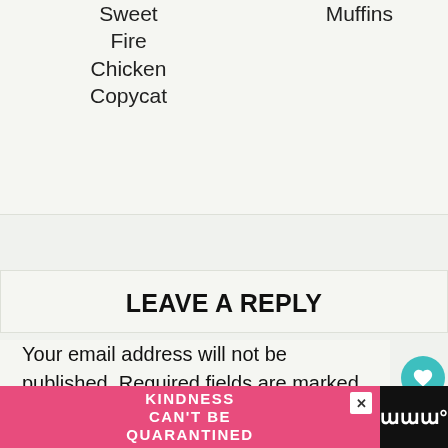Sweet Fire Chicken Copycat
Muffins
LEAVE A REPLY
Your email address will not be published. Required fields are marked *
Recipe Rating
[Figure (infographic): Advertisement banner: pink background with white text 'KINDNESS CAN'T BE QUARANTINED' with a close button and brand logo on right]